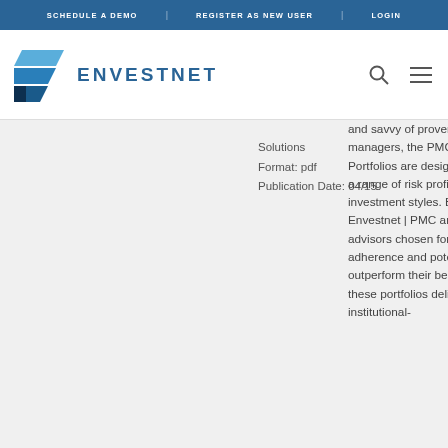SCHEDULE A DEMO   REGISTER AS NEW USER   LOGIN
[Figure (logo): Envestnet logo with blue layered chevron icon and ENVESTNET wordmark in blue]
Solutions
Format: pdf
Publication Date: 04/15
and savvy of proven asset managers, the PMC Select Portfolios are designed to suit a range of risk profiles and investment styles. Backed by Envestnet | PMC and sub-advisors chosen for style adherence and potential to outperform their benchmarks, these portfolios deliver institutional-